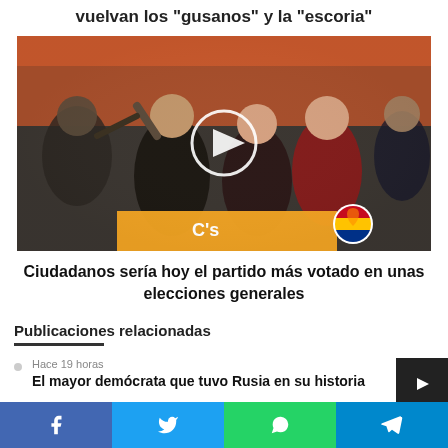vuelvan los "gusanos" y la "escoria"
[Figure (photo): Video thumbnail showing Ciudadanos party celebration with play button overlay. People cheering, Cs orange logo visible, Catalan/Spanish flag badge visible.]
Ciudadanos sería hoy el partido más votado en unas elecciones generales
Publicaciones relacionadas
Hace 19 horas
El mayor demócrata que tuvo Rusia en su historia